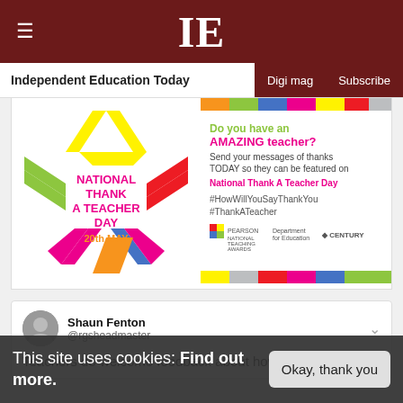IE — Independent Education Today | Digi mag | Subscribe
[Figure (illustration): National Thank A Teacher Day promotional banner. Features a colourful star logo, text 'NATIONAL THANK A TEACHER DAY 20th MAY', and message 'Do you have an AMAZING teacher? Send your messages of thanks TODAY so they can be featured on National Thank A Teacher Day #HowWillYouSayThankYou #ThankATeacher'. Logos for Pearson, Department for Education, CENTURY, and another organisation shown at bottom.]
[Figure (screenshot): Tweet by Shaun Fenton (@rgsheadmaster) with profile photo. Tweet text begins: 'Teachers do welcome feedback about how they can']
Teachers do welcome feedback about how they can
This site uses cookies: Find out more.
Okay, thank you